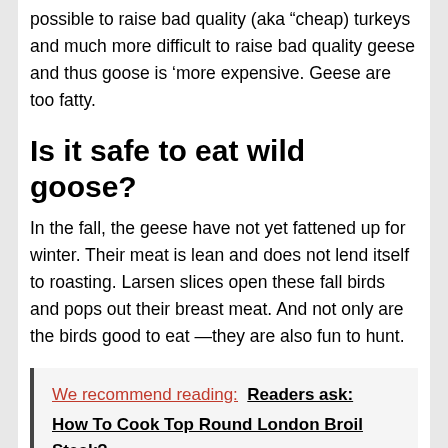possible to raise bad quality (aka “cheap) turkeys and much more difficult to raise bad quality geese and thus goose is ‘more expensive. Geese are too fatty.
Is it safe to eat wild goose?
In the fall, the geese have not yet fattened up for winter. Their meat is lean and does not lend itself to roasting. Larsen slices open these fall birds and pops out their breast meat. And not only are the birds good to eat —they are also fun to hunt.
We recommend reading:  Readers ask: How To Cook Top Round London Broil Steak?